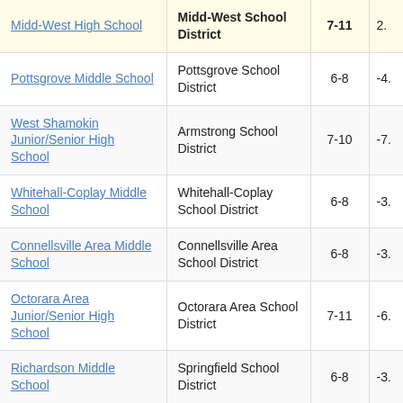| School | District | Grades | Score |
| --- | --- | --- | --- |
| Midd-West High School | Midd-West School District | 7-11 | 2. |
| Pottsgrove Middle School | Pottsgrove School District | 6-8 | -4. |
| West Shamokin Junior/Senior High School | Armstrong School District | 7-10 | -7. |
| Whitehall-Coplay Middle School | Whitehall-Coplay School District | 6-8 | -3. |
| Connellsville Area Middle School | Connellsville Area School District | 6-8 | -3. |
| Octorara Area Junior/Senior High School | Octorara Area School District | 7-11 | -6. |
| Richardson Middle School | Springfield School District | 6-8 | -3. |